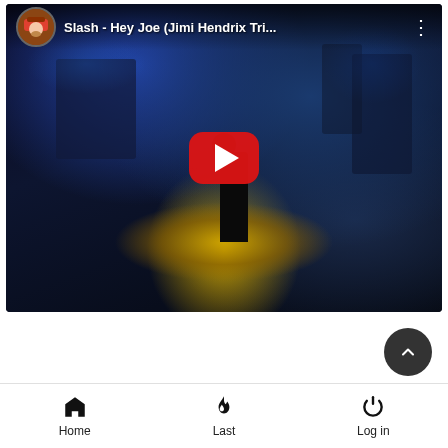[Figure (screenshot): YouTube video thumbnail showing a concert performance. Title: 'Slash - Hey Joe (Jimi Hendrix Tri...' with a YouTube avatar icon. A performer stands on a lit stage with blue lighting and background musicians. A red YouTube play button is centered on the video.]
[Figure (screenshot): Mobile app bottom navigation bar with three items: Home (house icon), Last (flame icon), Log in (power icon). Dark circular scroll-to-top arrow button in the lower right.]